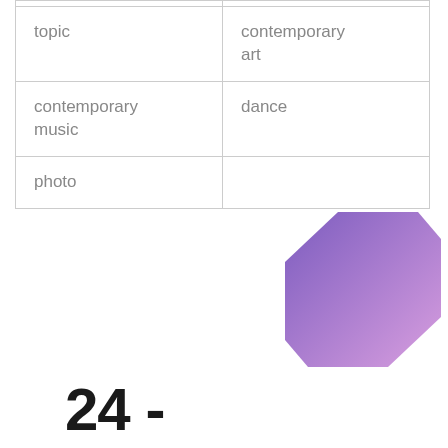| topic | contemporary art |
| --- | --- |
| contemporary music | dance |
| photo |  |
[Figure (illustration): A geometric hexagonal shape with a purple-to-light-purple gradient, oriented diagonally]
24 -